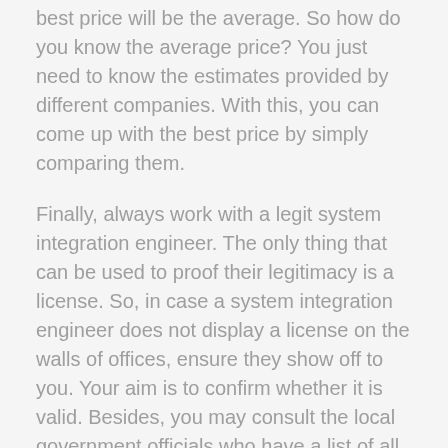best price will be the average. So how do you know the average price? You just need to know the estimates provided by different companies. With this, you can come up with the best price by simply comparing them.
Finally, always work with a legit system integration engineer. The only thing that can be used to proof their legitimacy is a license. So, in case a system integration engineer does not display a license on the walls of offices, ensure they show off to you. Your aim is to confirm whether it is valid. Besides, you may consult the local government officials who have a list of all legit firm in that area. Additionally, even though they have an online site where you can easily meet them, it is advisable you have a face-to-face meeting for the first time. This will help in diagnosing more on how they work.
Short Course on – What You Should Know